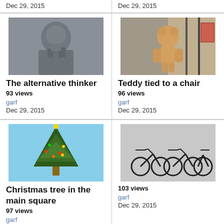Dec 29, 2015
Dec 29, 2015
[Figure (photo): Bronze statue of a man holding something, close-up]
The alternative thinker
93 views
garf
Dec 29, 2015
[Figure (photo): Teddy bear tied to a chair outside a shop]
Teddy tied to a chair
96 views
garf
Dec 29, 2015
[Figure (photo): Christmas tree in a town square with lights and ornaments]
Christmas tree in the main square
97 views
garf
Dec 29, 2015
[Figure (photo): Black and white photo of bicycles parked in a row]
103 views
garf
Dec 29, 2015
[Figure (photo): Dark image, partial view of bottom row left]
[Figure (photo): Partial view of bottom row right, outdoor scene]